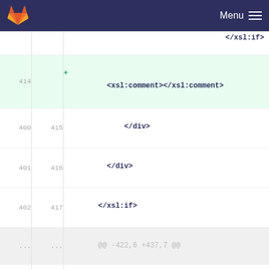Menu
[Figure (screenshot): GitLab diff view screenshot showing code changes with line numbers, added lines highlighted in green, and XSL code snippets including </xsl:if>, <xsl:comment></xsl:comment>, </div>, </xsl:if>, @@ -422,6 +437,7 @@, </xsl:for-each>, </div>, </xsl:if>, and an added line marker +]
| old | new | code |
| --- | --- | --- |
|  |  | </xsl:if> |
| 414 |  | + <xsl:comment></xsl:comment> |
| 400 | 415 |     </div> |
| 401 | 416 |   </div> |
| 402 | 417 | </xsl:if> |
| ... | ... | @@ -422,6 +437,7 @@ |
| 422 | 437 |     </xsl:for-each> |
| 423 | 438 | </div> |
| 424 | 439 |                         </xsl:if> |
|  | 440 | + |